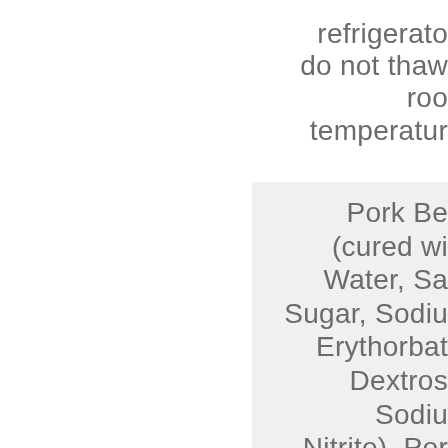refrigerato do not thaw roo temperatur
Pork Be (cured wi Water, Sa Sugar, Sodiu Erythorbat Dextros Sodiu Nitrite), Por